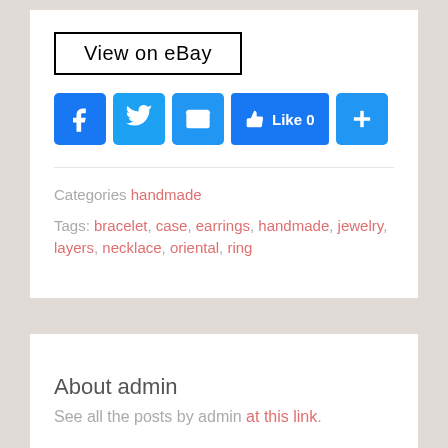[Figure (screenshot): View on eBay button with black border]
[Figure (infographic): Social share icons: Facebook, Twitter, Email, Like 0, Plus]
Categories handmade
Tags: bracelet, case, earrings, handmade, jewelry, layers, necklace, oriental, ring
About admin
See all the posts by admin at this link.